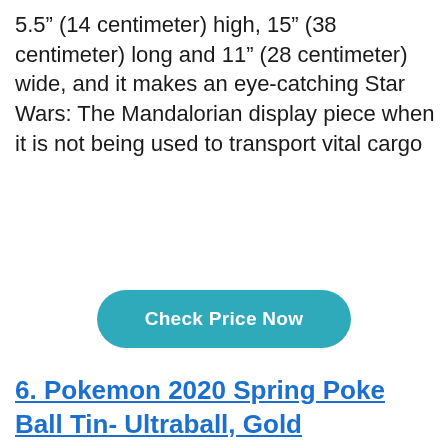5.5" (14 centimeter) high, 15" (38 centimeter) long and 11" (28 centimeter) wide, and it makes an eye-catching Star Wars: The Mandalorian display piece when it is not being used to transport vital cargo
Check Price Now
6. Pokemon 2020 Spring Poke Ball Tin- Ultraball, Gold